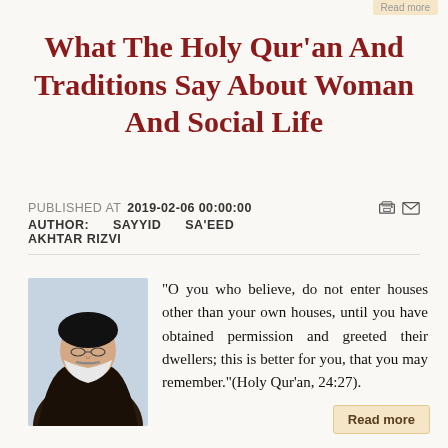Read more
What The Holy Qur'an And Traditions Say About Woman And Social Life
PUBLISHED AT 2019-02-06 00:00:00
AUTHOR: SAYYID SA'EED AKHTAR RIZVI
[Figure (photo): Portrait of Sayyid Sa'eed Akhtar Rizvi, an elderly man wearing black turban and brown/dark religious garb with white beard]
"O you who believe, do not enter houses other than your own houses, until you have obtained permission and greeted their dwellers; this is better for you, that you may remember."(Holy Qur'an, 24:27).
Read more